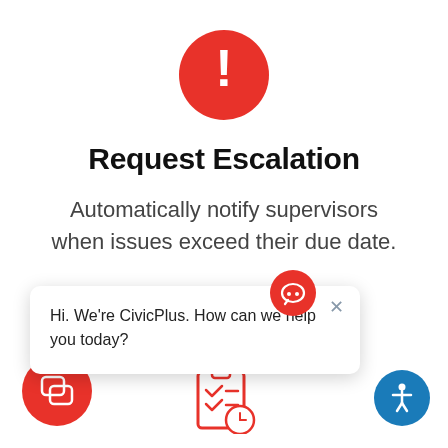[Figure (illustration): Red circle with white exclamation mark warning icon]
Request Escalation
Automatically notify supervisors when issues exceed their due date.
[Figure (illustration): Chat popup widget showing 'Hi. We're CivicPlus. How can we help you today?' with a red chat bubble icon above and close X button]
[Figure (illustration): Red circular chat button at bottom left]
[Figure (illustration): Red clipboard with checkmarks and clock icon at bottom center]
[Figure (illustration): Blue circular accessibility icon at bottom right]